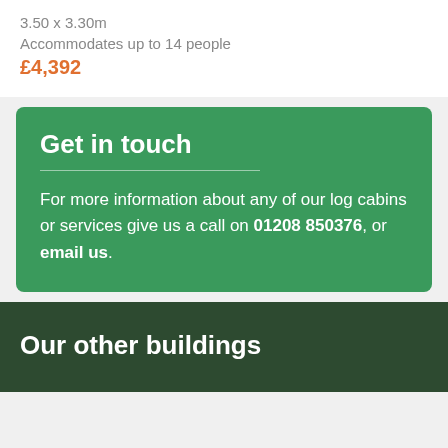3.50 x 3.30m
Accommodates up to 14 people
£4,392
Get in touch
For more information about any of our log cabins or services give us a call on 01208 850376, or email us.
Our other buildings